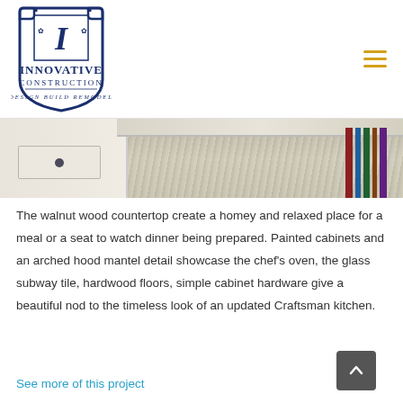[Figure (logo): Innovative Construction – Design Build Remodel logo with decorative shield/crest shape in navy blue]
[Figure (photo): Kitchen countertop with white painted cabinets, marble-look countertop, and books on shelving]
The walnut wood countertop create a homey and relaxed place for a meal or a seat to watch dinner being prepared. Painted cabinets and an arched hood mantel detail showcase the chef's oven, the glass subway tile, hardwood floors, simple cabinet hardware give a beautiful nod to the timeless look of an updated Craftsman kitchen.
See more of this project